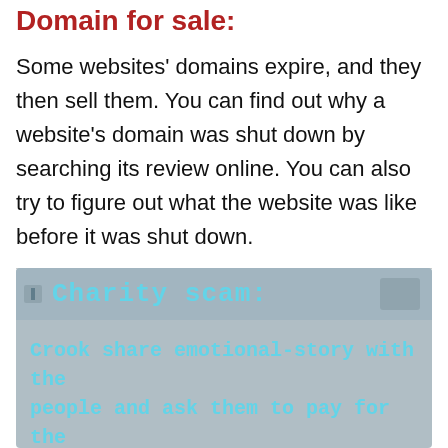Domain for sale:
Some websites' domains expire, and they then sell them. You can find out why a website's domain was shut down by searching its review online. You can also try to figure out what the website was like before it was shut down.
[Figure (screenshot): Screenshot showing a 'Charity scam:' section header in cyan monospace font on a grey background, with body text reading: 'Crook share emotional-story with the people and ask them to pay for the charity support.']